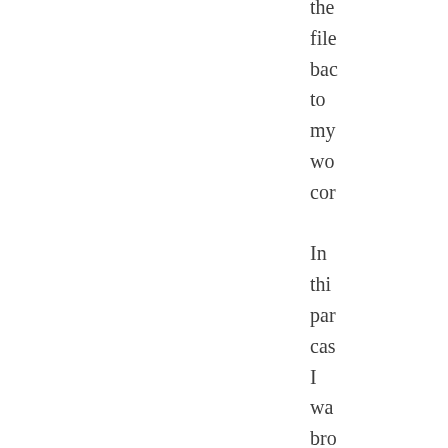the file bac to my wo cor  In thi par cas I wa bro in as app cor anc